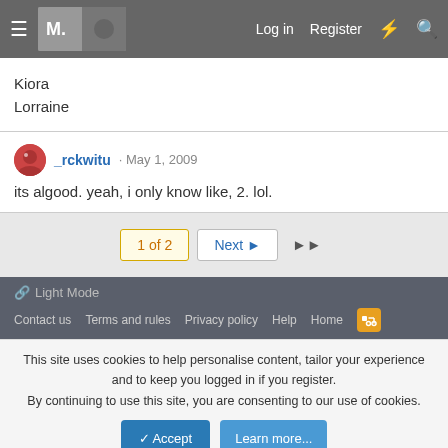Log in  Register
Kiora
Lorraine
_rckwitu · May 1, 2009
its algood. yeah, i only know like, 2. lol.
1 of 2  Next  ▶▶
🔗 Light Mode
Contact us  Terms and rules  Privacy policy  Help  Home
This site uses cookies to help personalise content, tailor your experience and to keep you logged in if you register.
By continuing to use this site, you are consenting to our use of cookies.
Accept  Learn more...